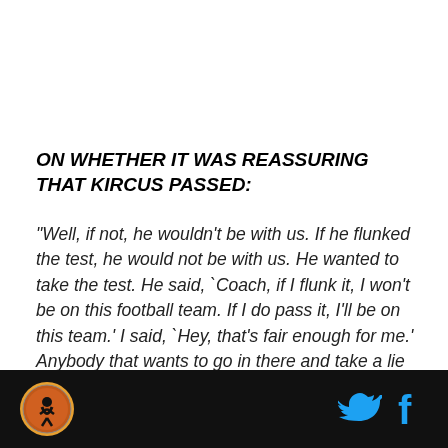ON WHETHER IT WAS REASSURING THAT KIRCUS PASSED:
"Well, if not, he wouldn't be with us. If he flunked the test, he would not be with us. He wanted to take the test. He said, `Coach, if I flunk it, I won't be on this football team. If I do pass it, I'll be on this team.' I said, `Hey, that's fair enough for me.' Anybody that wants to go in there and take a lie detector test where his career is based on whether it comes out positive or negative,
[Figure (logo): Sports team logo - circular orange and black emblem with athlete figure]
[Figure (logo): Twitter bird icon in cyan/blue]
[Figure (logo): Facebook f icon in cyan/blue]